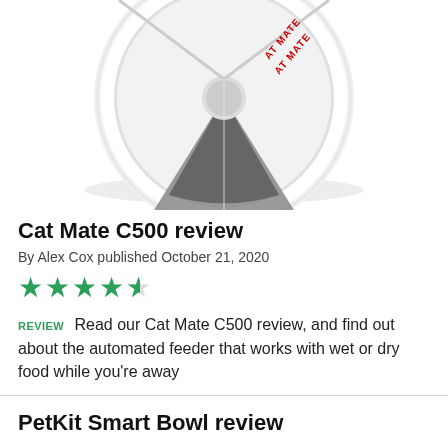[Figure (photo): Top-down view of a Cat Mate C500 automatic pet feeder, white circular device with triangular sections visible, showing the brand name in red text on the lid]
Cat Mate C500 review
By Alex Cox published October 21, 2020
[Figure (other): 4.5 out of 5 green star rating]
REVIEW  Read our Cat Mate C500 review, and find out about the automated feeder that works with wet or dry food while you're away
PetKit Smart Bowl review